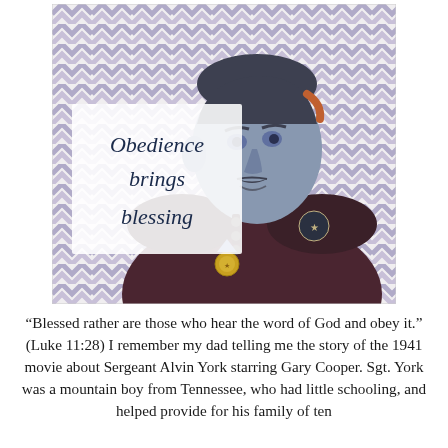[Figure (illustration): Artistic portrait illustration of Sergeant Alvin York in military uniform with medals, set against a chevron/zigzag patterned background in muted purple, blue, and grey tones. A white box overlaid on the left side contains the text 'Obedience brings blessing' in dark serif italic font.]
“Blessed rather are those who hear the word of God and obey it.” (Luke 11:28) I remember my dad telling me the story of the 1941 movie about Sergeant Alvin York starring Gary Cooper. Sgt. York was a mountain boy from Tennessee, who had little schooling, and helped provide for his family of ten